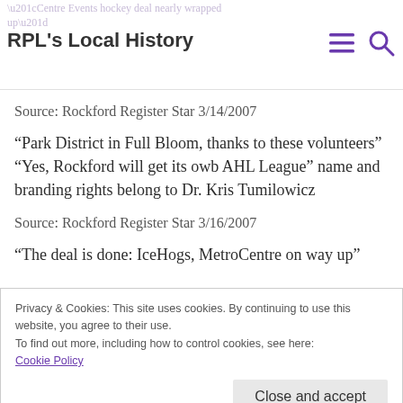“Centre Events hockey deal nearly wrapped up” RPL’s Local History
Source: Rockford Register Star 3/14/2007
“Park District in Full Bloom, thanks to these volunteers”  “Yes, Rockford will get its owb AHL League” name and branding rights belong to Dr. Kris Tumilowicz
Source: Rockford Register Star 3/16/2007
“The deal is done: IceHogs, MetroCentre on way up”
Privacy & Cookies: This site uses cookies. By continuing to use this website, you agree to their use.
To find out more, including how to control cookies, see here:
Cookie Policy
Close and accept
Source: Rockford Register Star 3/21/2007 &